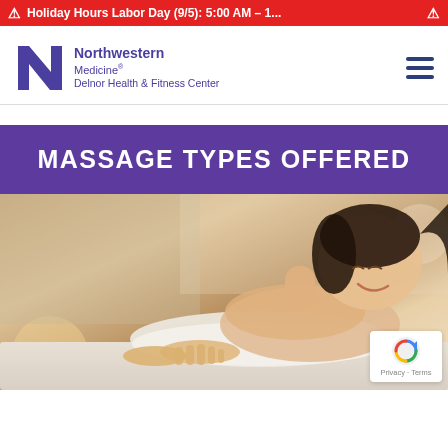Holiday Hours Labor Day (9/5): 5:00 AM – 1...
[Figure (logo): Northwestern Medicine Delnor Health & Fitness Center logo with stylized NM lettermark in dark blue/purple]
MASSAGE TYPES OFFERED
[Figure (photo): A woman lying on a massage table, smiling, with a white towel draped over her back, in a warm spa setting]